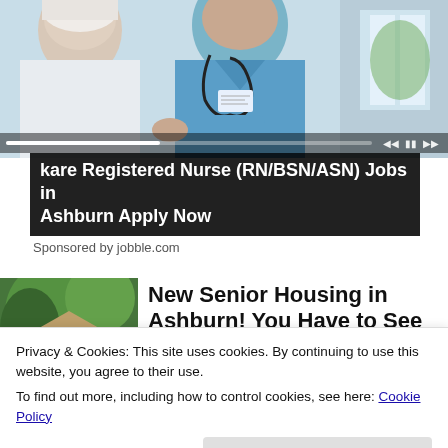[Figure (photo): Nurse in blue scrubs with stethoscope attending to an elderly patient, video player interface visible]
kare Registered Nurse (RN/BSN/ASN) Jobs in Ashburn Apply Now
Sponsored by jobble.com
[Figure (photo): House with trees - senior housing advertisement thumbnail]
New Senior Housing in Ashburn! You Have to See to Believe (Look at The Prices)
Privacy & Cookies: This site uses cookies. By continuing to use this website, you agree to their use.
To find out more, including how to control cookies, see here: Cookie Policy
Close and accept
[Figure (photo): Senior person thumbnail for article]
Inside